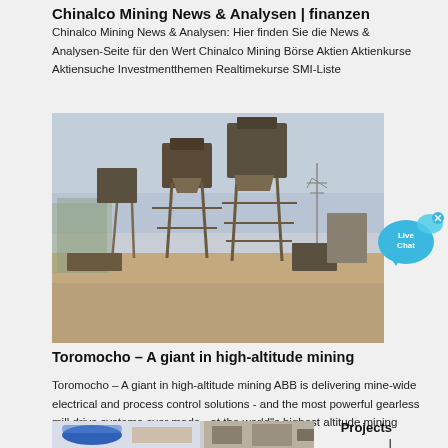Chinalco Mining News & Analysen | finanzen
Chinalco Mining News & Analysen: Hier finden Sie die News & Analysen-Seite für den Wert Chinalco Mining Börse Aktien Aktienkurse Aktiensuche Investmentthemen Realtimekurse SMI-Liste
[Figure (photo): Industrial mining equipment and machinery on a dirt construction site, with metal framework structures, conveyor belts, and industrial buildings. Bare trees visible in background with power line tower.]
[Figure (infographic): Live Chat speech bubble icon in cyan/blue color with 'Live Chat' text and an x close button]
Toromocho – A giant in high-altitude mining
Toromocho – A giant in high-altitude mining ABB is delivering mine-wide electrical and process control solutions - and the most powerful gearless mill drive systems ever made - at the world"s highest altitude mining project: the 4,700 m Toromocho copper mine in
[Figure (photo): Partial view of industrial mining site photos at bottom of page, with blue cylindrical structure on left and machinery on right]
Projects
|